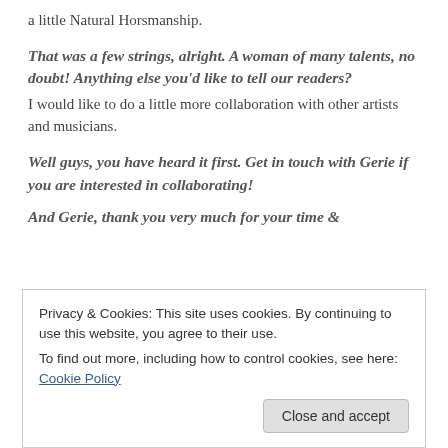a little Natural Horsmanship.
That was a few strings, alright. A woman of many talents, no doubt! Anything else you'd like to tell our readers?
I would like to do a little more collaboration with other artists and musicians.
Well guys, you have heard it first. Get in touch with Gerie if you are interested in collaborating!
And Gerie, thank you very much for your time &
Privacy & Cookies: This site uses cookies. By continuing to use this website, you agree to their use.
To find out more, including how to control cookies, see here: Cookie Policy
Close and accept